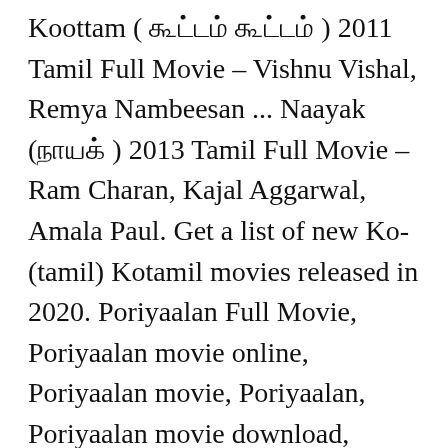Koottam ( கூட்டம் கூட்டம் ) 2011 Tamil Full Movie – Vishnu Vishal, Remya Nambeesan ... Naayak (நாயக் ) 2013 Tamil Full Movie – Ram Charan, Kajal Aggarwal, Amala Paul. Get a list of new Ko-(tamil) Kotamil movies released in 2020. Poriyaalan Full Movie, Poriyaalan movie online, Poriyaalan movie, Poriyaalan, Poriyaalan movie download, Poriyaalan movie watch online, Poriyaalan tamil mp3, Poriyaalan tamil songs, Poriyaalan is an upcoming 2014 Tamil film directed by Thanukumar, written by Manimaran and produced by Vetrimaaran. Paava Kadhaigal (2020) S01 EP (01-04) HD Ko Wiki & Box office collections are updated regularly. All Rights Reserved. Free wallpapers download of Ko